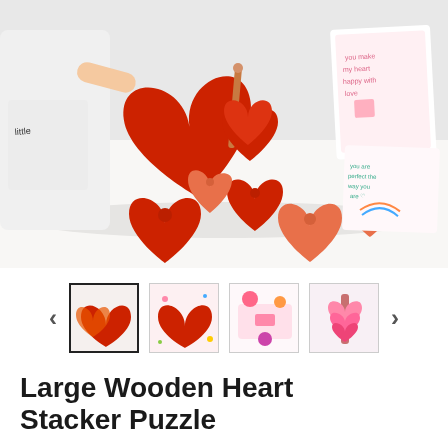[Figure (photo): A toddler child wearing a white shirt playing with red and orange wooden heart-shaped stacker puzzle pieces on a white table. The heart pieces have holes in them and stack on a wooden peg. Valentine's Day cards with messages like 'you make my heart happy' and 'you are perfect' are visible in the background on the right side.]
[Figure (photo): Thumbnail strip showing 4 product photos with navigation arrows on either side. First thumbnail (selected) shows child playing with red heart pieces. Second shows a red heart closeup with confetti. Third shows colorful heart-themed items. Fourth shows a pink heart stacker.]
Large Wooden Heart Stacker Puzzle